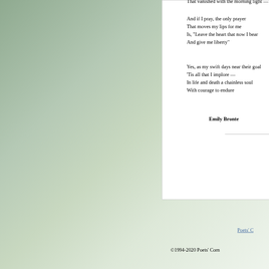That vanished with the morning light —
And if I pray, the only prayer
That moves my lips for me
Is, "Leave the heart that now I bear
And give me liberty"
Yes, as my swift days near their goal
'Tis all that I implore —
In life and death a chainless soul
With courage to endure
Emily Bronte
Poets' C
©1994-2020 Poets' Corn